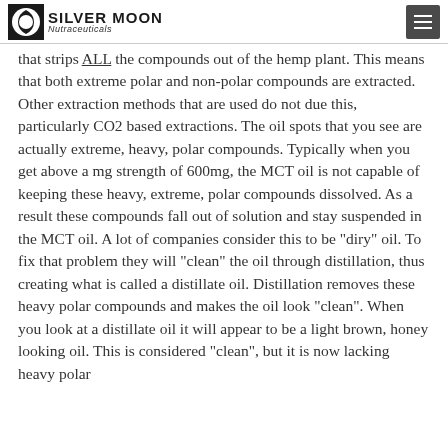Silver Moon Nutraceuticals
that strips ALL the compounds out of the hemp plant.  This means that both extreme polar and non-polar compounds are extracted.  Other extraction methods that are used do not due this, particularly CO2 based extractions.  The oil spots that you see are actually extreme, heavy, polar compounds.  Typically when you get above a mg strength of 600mg, the MCT oil is not capable of keeping these heavy, extreme, polar compounds dissolved.  As a result these compounds fall out of solution and stay suspended in the MCT oil.  A lot of companies consider this to be "diry" oil.  To fix that problem they will "clean" the oil through distillation, thus creating what is called a distillate oil.  Distillation removes these heavy polar compounds and makes the oil look "clean".  When you look at a distillate oil it will appear to be a light brown, honey looking oil.  This is considered "clean", but it is now lacking heavy polar